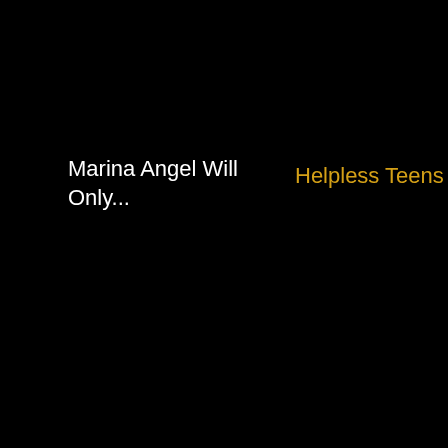Marina Angel Will Only...
Helpless Teens